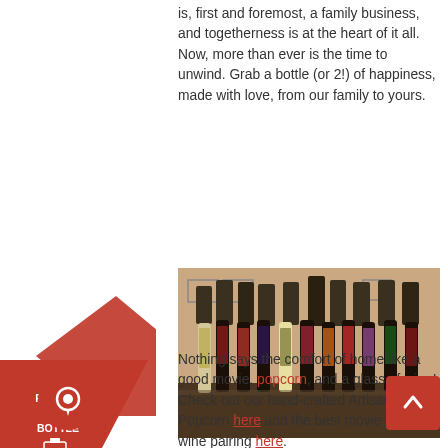is, first and foremost, a family business, and togetherness is at the heart of it all. Now, more than ever is the time to unwind. Grab a bottle (or 2!) of happiness, made with love, from our family to yours.
[Figure (photo): Multiple wine bottles with artistic labels arranged in a row on a table, each bottle having a dark bagged top. A diagonal red banner with 'REGISTER YOUR BOTTLE' text and an icon overlays the left side of the image.]
Nothing says the comfort of home like a good movie, popcorn, and a glass of wine! Check out our hand-crafted Artisan Popcorn here and the best movie and wine pairing here.